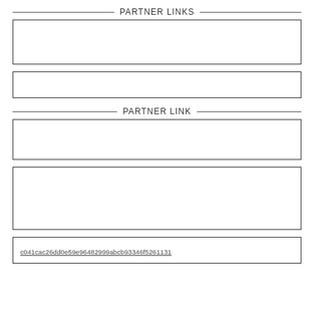PARTNER LINKS
PARTNER LINK
c041cac26dd0e59e96482999abcb93346f5261131